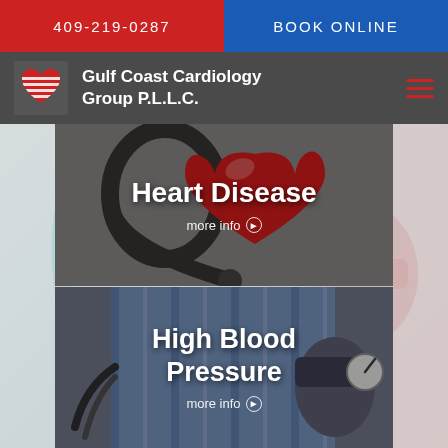409-219-0287
BOOK ONLINE
[Figure (logo): Gulf Coast Cardiology Group P.L.L.C. logo with red striped heart icon]
Gulf Coast Cardiology Group P.L.L.C.
[Figure (photo): Red heart model on a stethoscope - Heart Disease section]
Heart Disease
more info
[Figure (photo): Person having blood pressure measured - High Blood Pressure section]
High Blood Pressure
more info